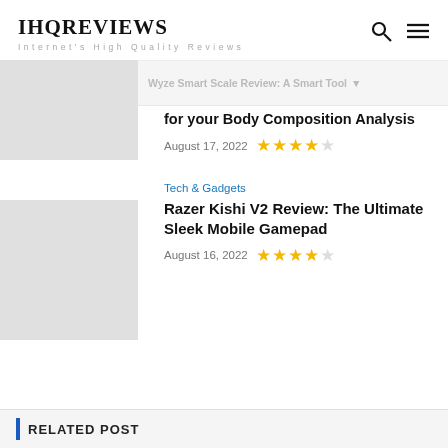IHQREVIEWS — Internet's High Quality Reviews
Wyze Smart Scale Review: A Smart Tool for your Body Composition Analysis
August 17, 2022  ★★★★☆
Tech & Gadgets
Razer Kishi V2 Review: The Ultimate Sleek Mobile Gamepad
August 16, 2022  ★★★★☆
RELATED POST